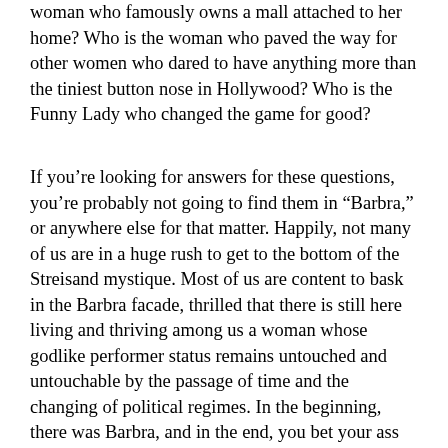woman who famously owns a mall attached to her home? Who is the woman who paved the way for other women who dared to have anything more than the tiniest button nose in Hollywood? Who is the Funny Lady who changed the game for good?
If you’re looking for answers for these questions, you’re probably not going to find them in “Barbra,” or anywhere else for that matter. Happily, not many of us are in a huge rush to get to the bottom of the Streisand mystique. Most of us are content to bask in the Barbra facade, thrilled that there is still here living and thriving among us a woman whose godlike performer status remains untouched and untouchable by the passage of time and the changing of political regimes. In the beginning, there was Barbra, and in the end, you bet your ass there will still be Barbra. Who can say the same for the pop starlets of today? Who can promise that, out of the crop of Disney proteges and aging American Idols there will be one left among them with talent substantial enough to stand the